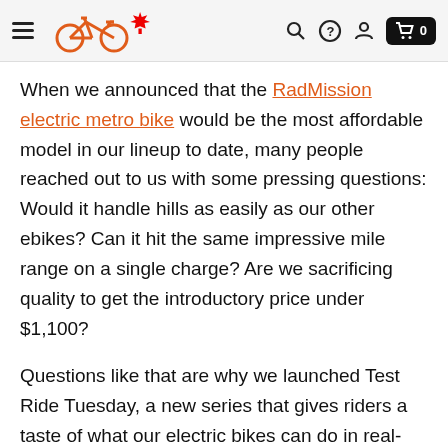Navigation bar with hamburger menu, bicycle logo with Canadian maple leaf, search, help, account, and cart icons
When we announced that the RadMission electric metro bike would be the most affordable model in our lineup to date, many people reached out to us with some pressing questions: Would it handle hills as easily as our other ebikes? Can it hit the same impressive mile range on a single charge? Are we sacrificing quality to get the introductory price under $1,100?
Questions like that are why we launched Test Ride Tuesday, a new series that gives riders a taste of what our electric bikes can do in real-